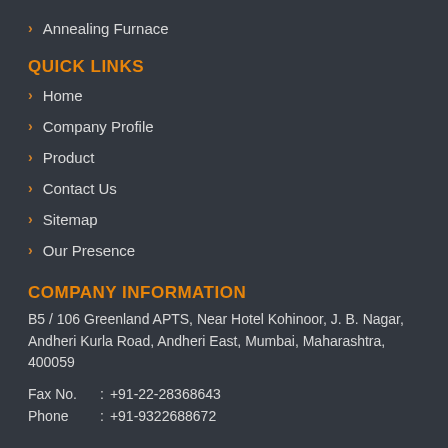Annealing Furnace
QUICK LINKS
Home
Company Profile
Product
Contact Us
Sitemap
Our Presence
COMPANY INFORMATION
B5 / 106 Greenland APTS, Near Hotel Kohinoor, J. B. Nagar, Andheri Kurla Road, Andheri East, Mumbai, Maharashtra, 400059
Fax No.    : +91-22-28368643
Phone      : +91-9322688672